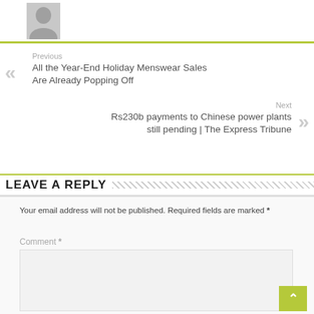[Figure (illustration): User avatar silhouette placeholder image (grey background, person icon)]
Previous
All the Year-End Holiday Menswear Sales Are Already Popping Off
Next
Rs230b payments to Chinese power plants still pending | The Express Tribune
LEAVE A REPLY
Your email address will not be published. Required fields are marked *
Comment *